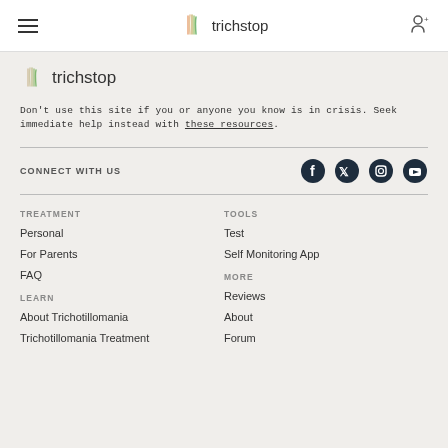trichstop
trichstop
Don't use this site if you or anyone you know is in crisis. Seek immediate help instead with these resources.
CONNECT WITH US
[Figure (other): Social media icons: Facebook, Twitter, Instagram, YouTube]
TREATMENT
Personal
For Parents
FAQ
LEARN
About Trichotillomania
Trichotillomania Treatment
TOOLS
Test
Self Monitoring App
MORE
Reviews
About
Forum